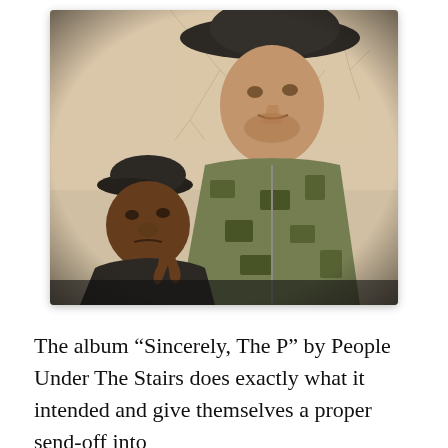[Figure (photo): Two men posing for a photo outdoors. On the left is a shorter man wearing a black cap and black shirt, making a gesture. On the right is a taller man wearing a wide-brimmed black hat and camouflage jacket. The photo has a sepia/vintage tone with bare tree branches visible in the background.]
The album “Sincerely, The P” by People Under The Stairs does exactly what it intended and give themselves a proper send-off into